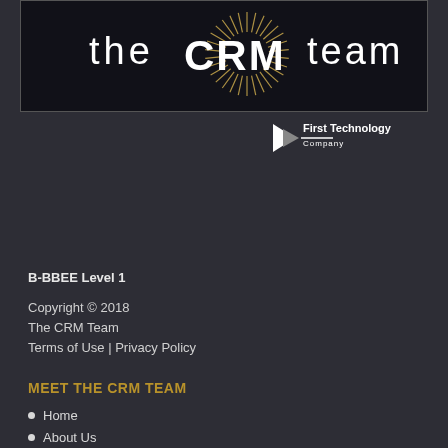[Figure (logo): The CRM Team logo — white stylized text 'the CRM team' on a black background with a golden circular radial pattern/sunburst behind the CRM text]
[Figure (logo): First Technology Company logo — white triangle/arrow shape with 'First Technology Company' text in white on dark background]
B-BBEE Level 1
Copyright © 2018
The CRM Team
Terms of Use | Privacy Policy
MEET THE CRM TEAM
Home
About Us